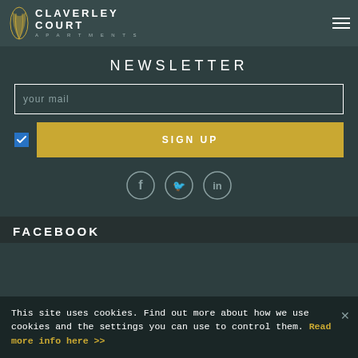[Figure (logo): Claverley Court Apartments logo with feather icon and text]
NEWSLETTER
your mail
SIGN UP
[Figure (infographic): Social media icons: Facebook, Twitter, LinkedIn in circles]
FACEBOOK
This site uses cookies. Find out more about how we use cookies and the settings you can use to control them. Read more info here >>